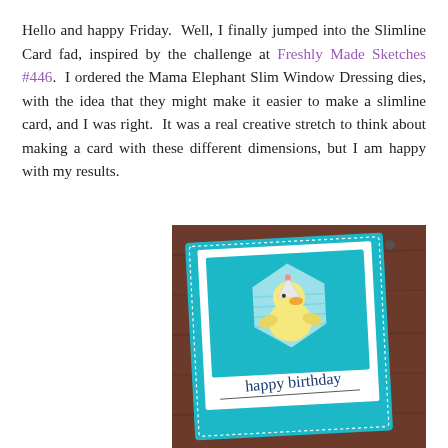Hello and happy Friday.  Well, I finally jumped into the Slimline Card fad, inspired by the challenge at Freshly Made Sketches #446.  I ordered the Mama Elephant Slim Window Dressing dies, with the idea that they might make it easier to make a slimline card, and I was right.  It was a real creative stretch to think about making a card with these different dimensions, but I am happy with my results.
[Figure (photo): A handmade slimline birthday card with teal/turquoise border on a wooden background. The card features a cute duck/bird character with a birthday hat, sitting inside a hexagonal shape on a teal panel. Below the illustration, handwritten cursive text reads 'happy birthday'.]